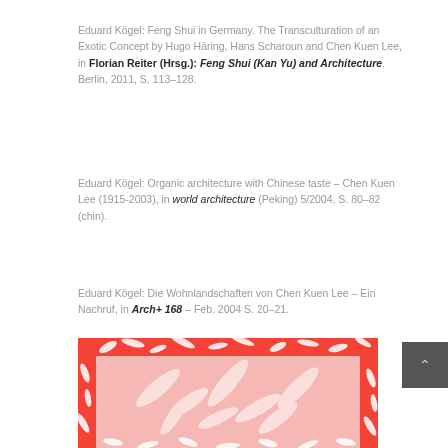Eduard Kögel: Feng Shui in Germany. The Transculturation of an Exotic Concept by Hugo Häring, Hans Scharoun and Chen Kuen Lee, in Florian Reiter (Hrsg.): Feng Shui (Kan Yu) and Architecture. Berlin, 2011, S. 113–128.
Eduard Kögel: Organic architecture with Chinese taste – Chen Kuen Lee (1915-2003), in world architecture (Peking) 5/2004, S. 80–82 (chin).
Eduard Kögel: Die Wohnlandschaften von Chen Kuen Lee – Ein Nachruf, in Arch+ 168 – Feb. 2004 S. 20–21.
[Figure (photo): Partial view of a red and white book or publication cover with bamboo leaf pattern design]